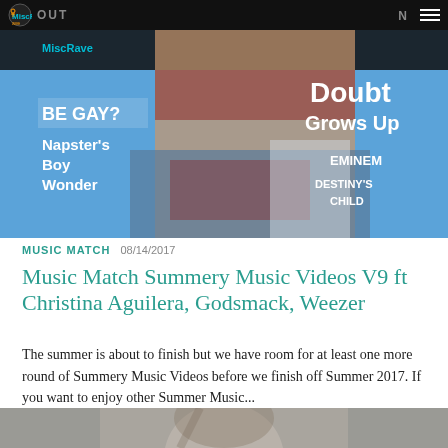MiscRave (logo nav bar with hamburger menu)
[Figure (photo): Magazine cover featuring a female torso in bikini top and denim shorts with text overlays: 'BE GAY?', 'Napster's Boy Wonder', 'Doubt Grows Up', 'EMINEM', 'DESTINY'S CHILD']
MUSIC MATCH  08/14/2017
Music Match Summery Music Videos V9 ft Christina Aguilera, Godsmack, Weezer
The summer is about to finish but we have room for at least one more round of Summery Music Videos before we finish off Summer 2017. If you want to enjoy other Summer Music...
[Figure (photo): Bottom portion of a photo showing a woman with her hand raised to her head, grey/muted tones]